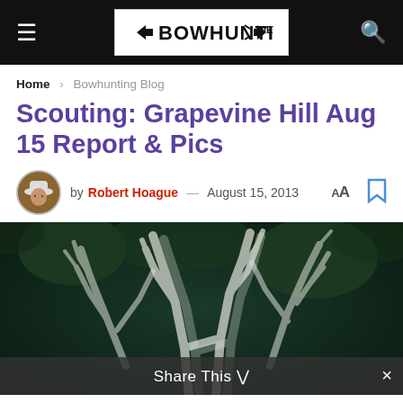≡  BOWHUNTING.NET  🔍
Home > Bowhunting Blog
Scouting: Grapevine Hill Aug 15 Report & Pics
by Robert Hoague — August 15, 2013
[Figure (photo): Photo of deer antlers close-up held up against a dark green forest background, with a ghostly/motion-blurred effect. The antlers are large with multiple points visible.]
Share This ∨